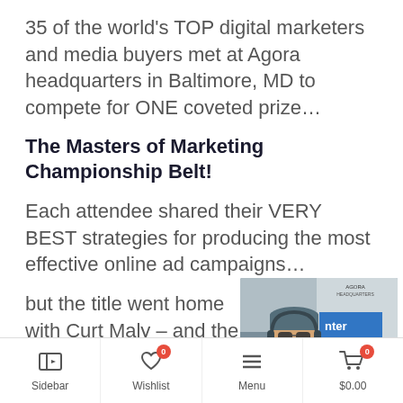35 of the world's TOP digital marketers and media buyers met at Agora headquarters in Baltimore, MD to compete for ONE coveted prize…
The Masters of Marketing Championship Belt!
Each attendee shared their VERY BEST strategies for producing the most effective online ad campaigns…
but the title went home with Curt Maly – and the BELT Method was no longer a secret
[Figure (photo): A man wearing a grey beanie hat and sunglasses with headphones around his neck, smiling. A banner reading 'Enter Here' is visible in the background.]
Sidebar | Wishlist 0 | Menu | $0.00 0